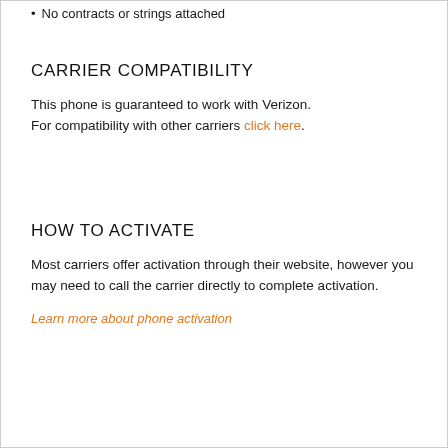No contracts or strings attached
CARRIER COMPATIBILITY
This phone is guaranteed to work with Verizon. For compatibility with other carriers click here.
HOW TO ACTIVATE
Most carriers offer activation through their website, however you may need to call the carrier directly to complete activation.
Learn more about phone activation